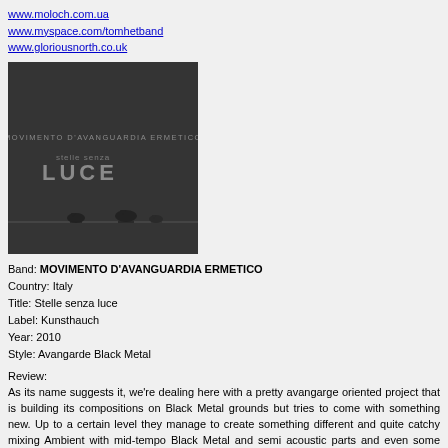www.moloch.com.ua
www.myspace.com/tomhetband
www.gloriousnorth.co.uk
[Figure (photo): Album cover for 'Stelle senza luce' by Movimento D'Avanguardia Ermetico. Dark charcoal/black background with two bird silhouettes on a wire at the bottom. Text reads 'Movimento d'Avanguardia Ermetico' and 'stelle senza LUCE' in grey letters.]
Band: MOVIMENTO D'AVANGUARDIA ERMETICO
Country: Italy
Title: Stelle senza luce
Label: Kunsthauch
Year: 2010
Style: Avangarde Black Metal
Review:
As its name suggests it, we're dealing here with a pretty avangarge oriented project that is building its compositions on Black Metal grounds but tries to come with something new. Up to a certain level they manage to create something different and quite catchy mixing Ambient with mid-tempo Black Metal and semi acoustic parts and even some alternative influences on guitars. It's clear they want to create something unique, but they haven;t succeeded on this album, the Black Metal riffs, although pretty good and entertaining, are pretty dull, the vocal part is horrible, at least for my taste, it's that kind of grim wanna-be throaty hoarse type of